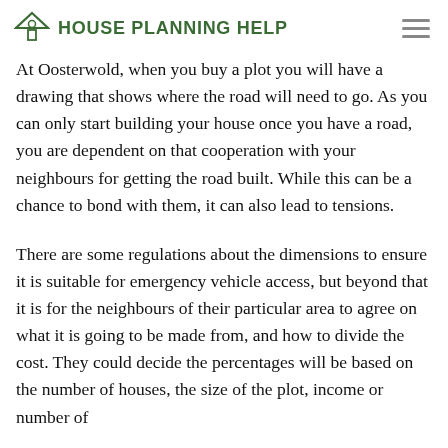House Planning Help
At Oosterwold, when you buy a plot you will have a drawing that shows where the road will need to go. As you can only start building your house once you have a road, you are dependent on that cooperation with your neighbours for getting the road built. While this can be a chance to bond with them, it can also lead to tensions.
There are some regulations about the dimensions to ensure it is suitable for emergency vehicle access, but beyond that it is for the neighbours of their particular area to agree on what it is going to be made from, and how to divide the cost. They could decide the percentages will be based on the number of houses, the size of the plot, income or number of...